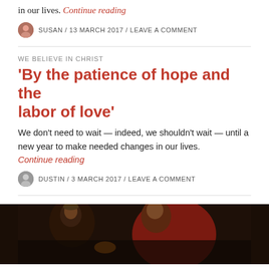in our lives. Continue reading
SUSAN / 13 MARCH 2017 / LEAVE A COMMENT
WE BELIEVE IN CHRIST
‘By the patience of hope and the labor of love’
We don’t need to wait — indeed, we shouldn’t wait — until a new year to make needed changes in our lives. Continue reading
DUSTIN / 3 MARCH 2017 / LEAVE A COMMENT
[Figure (photo): A dark religious painting showing robed figures, partially visible at the bottom of the page.]